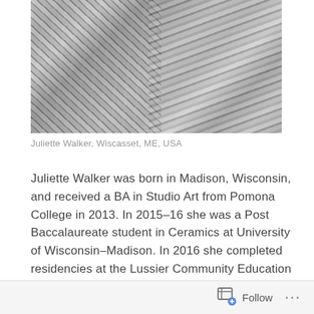[Figure (photo): Black and white photograph of Juliette Walker standing outdoors with foliage in the background, wearing a patterned top and carrying a bag.]
Juliette Walker, Wiscasset, ME, USA
Juliette Walker was born in Madison, Wisconsin, and received a BA in Studio Art from Pomona College in 2013. In 2015–16 she was a Post Baccalaureate student in Ceramics at University of Wisconsin–Madison. In 2016 she completed residencies at the Lussier Community Education Center in Madison and the International Ceramics Studio in Kecskemét, Hungary. She is currently the Administration Assistant at Watershed Center for the
Follow ...